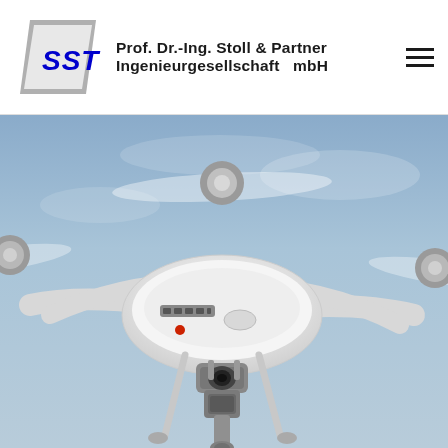[Figure (logo): SST company logo with parallelogram shape in grey, letters SST in blue, alongside company name 'Prof. Dr.-Ing. Stoll & Partner Ingenieurgesellschaft mbH' and a hamburger menu icon]
[Figure (photo): Close-up photograph of a white DJI Phantom-style quadcopter drone hovering against a blue-grey sky, showing spinning propellers, camera gimbal mount, and equipment attached underneath]